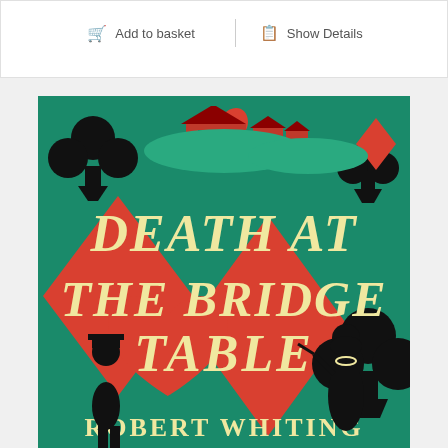[Figure (screenshot): E-commerce UI bar with 'Add to basket' and 'Show Details' buttons]
[Figure (illustration): Book cover of 'Death at the Bridge Table' by Robert Whiting. Art deco style with green background, playing card suit symbols (clubs, hearts, diamonds, spades) in red and black, silhouettes of a man in a hat and a 1920s woman with cigarette holder and pearls, and a house in the background at top.]